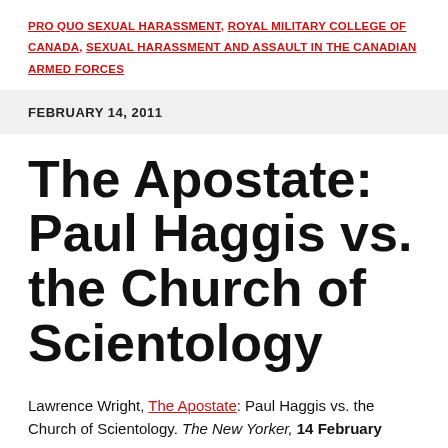PRO QUO SEXUAL HARASSMENT, ROYAL MILITARY COLLEGE OF CANADA, SEXUAL HARASSMENT AND ASSAULT IN THE CANADIAN ARMED FORCES
FEBRUARY 14, 2011
The Apostate: Paul Haggis vs. the Church of Scientology
Lawrence Wright, The Apostate: Paul Haggis vs. the Church of Scientology. The New Yorker, 14 February 2011.